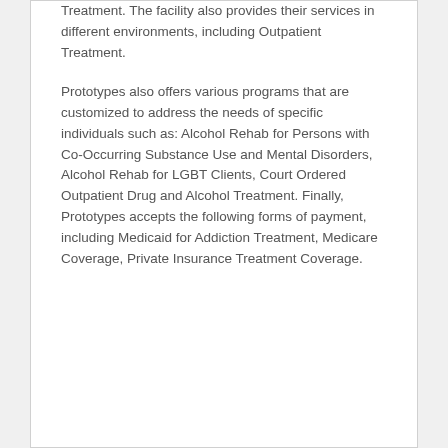Treatment. The facility also provides their services in different environments, including Outpatient Treatment.
Prototypes also offers various programs that are customized to address the needs of specific individuals such as: Alcohol Rehab for Persons with Co-Occurring Substance Use and Mental Disorders, Alcohol Rehab for LGBT Clients, Court Ordered Outpatient Drug and Alcohol Treatment. Finally, Prototypes accepts the following forms of payment, including Medicaid for Addiction Treatment, Medicare Coverage, Private Insurance Treatment Coverage.